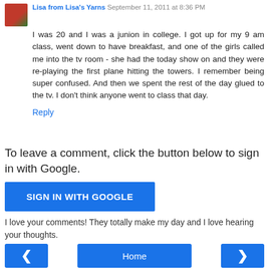Lisa from Lisa's Yarns  September 11, 2011 at 8:36 PM
I was 20 and I was a junion in college. I got up for my 9 am class, went down to have breakfast, and one of the girls called me into the tv room - she had the today show on and they were re-playing the first plane hitting the towers. I remember being super confused. And then we spent the rest of the day glued to the tv. I don't think anyone went to class that day.
Reply
To leave a comment, click the button below to sign in with Google.
SIGN IN WITH GOOGLE
I love your comments! They totally make my day and I love hearing your thoughts.
< Home >